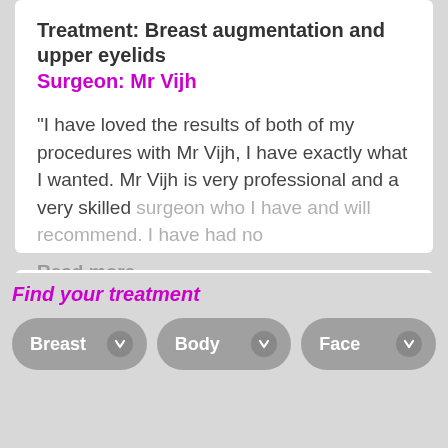Treatment: Breast augmentation and upper eyelids
Surgeon: Mr Vijh
“I have loved the results of both of my procedures with Mr Vijh, I have exactly what I wanted. Mr Vijh is very professional and a very skilled surgeon who I have and will recommend. I have had no
Read more...
Find your treatment
Breast
Body
Face